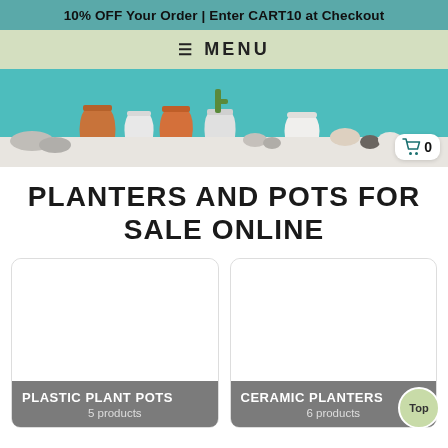10% OFF Your Order | Enter CART10 at Checkout
≡ MENU
[Figure (photo): Hero banner showing various plant pots and planters on a shelf with a teal background. A shopping cart icon with 0 items is shown in the bottom right.]
PLANTERS AND POTS FOR SALE ONLINE
[Figure (illustration): Product card for Plastic Plant Pots - 5 products]
[Figure (illustration): Product card for Ceramic Planters - 6 products]